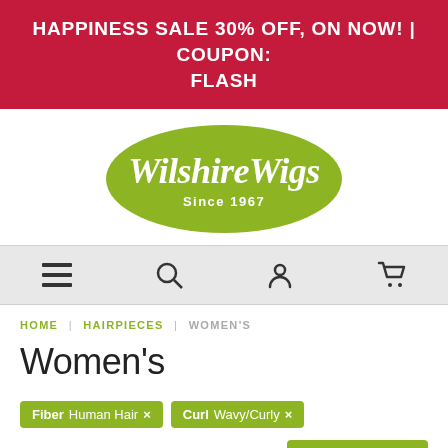HAPPINESS SALE 30% OFF, ON NOW! | COUPON: FLASH
[Figure (logo): Wilshire Wigs logo — green pill-shaped background with cursive white text 'WilshireWigs' and subtitle 'Since 1967']
[Figure (infographic): Navigation bar with four icons: hamburger menu, search magnifying glass, user/account person, shopping cart]
HOME | HAIRPIECES | WOMEN'S
Women's
Fiber  Human Hair ×    Curl  Wavy/Curly ×
Filters (2)